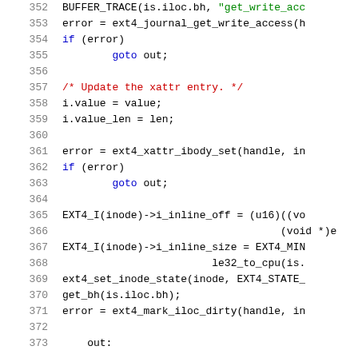[Figure (screenshot): Source code listing (C language) showing lines 352-373, featuring kernel/filesystem code with line numbers, syntax highlighting in blue keywords, red comments, green strings, and black default text.]